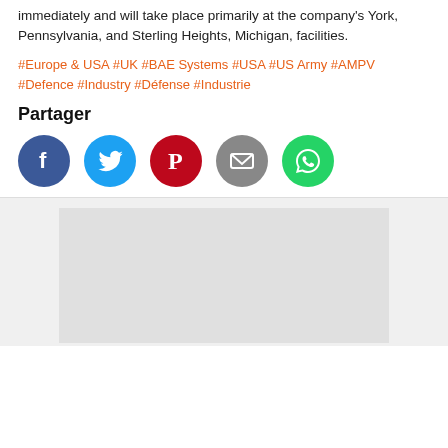immediately and will take place primarily at the company's York, Pennsylvania, and Sterling Heights, Michigan, facilities.
#Europe & USA #UK #BAE Systems #USA #US Army #AMPV #Defence #Industry #Défense #Industrie
Partager
[Figure (infographic): Social share buttons row: Facebook (blue circle), Twitter (light blue circle), Pinterest (red circle), Email (gray circle), WhatsApp (green circle)]
[Figure (other): Gray advertisement placeholder box below a horizontal divider line]